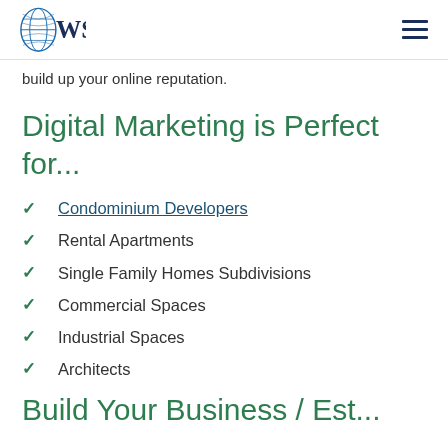WSI
build up your online reputation.
Digital Marketing is Perfect for...
Condominium Developers
Rental Apartments
Single Family Homes Subdivisions
Commercial Spaces
Industrial Spaces
Architects
Build Your Business / Est...